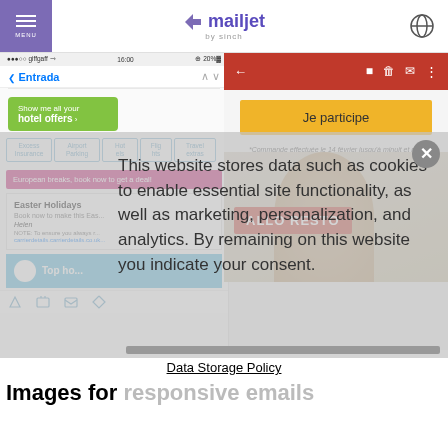MENU | mailjet by sinch
[Figure (screenshot): Screenshot collage showing mobile email client with hotel offers, a French email with 'Je participe' button, 'ALLO RESTO' promotional email, Easter Holidays email preview, cookie consent overlay, and Top Hotels section]
This website stores data such as cookies to enable essential site functionality, as well as marketing, personalization, and analytics. By remaining on this website you indicate your consent.
Data Storage Policy
Images for responsive emails